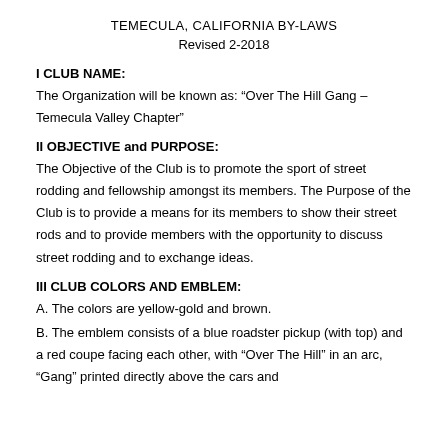TEMECULA, CALIFORNIA BY-LAWS
Revised 2-2018
I CLUB NAME:
The Organization will be known as: “Over The Hill Gang – Temecula Valley Chapter”
II OBJECTIVE and PURPOSE:
The Objective of the Club is to promote the sport of street rodding and fellowship amongst its members. The Purpose of the Club is to provide a means for its members to show their street rods and to provide members with the opportunity to discuss street rodding and to exchange ideas.
III CLUB COLORS AND EMBLEM:
A. The colors are yellow-gold and brown.
B. The emblem consists of a blue roadster pickup (with top) and a red coupe facing each other, with “Over The Hill” in an arc, “Gang” printed directly above the cars and